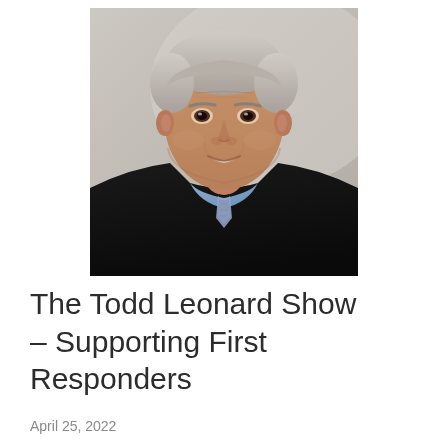[Figure (photo): Headshot of an older man with gray hair wearing a dark suit jacket, light blue dress shirt, and patterned tie, smiling slightly against a light gray background.]
The Todd Leonard Show – Supporting First Responders
April 25, 2022